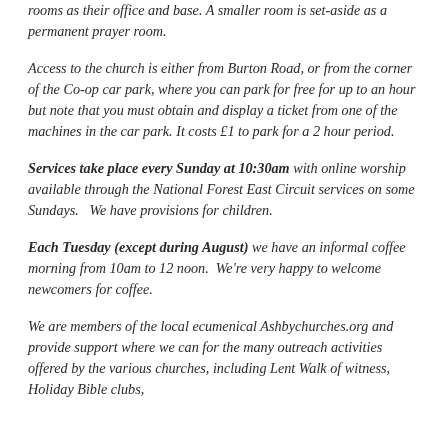rooms as their office and base. A smaller room is set-aside as a permanent prayer room.
Access to the church is either from Burton Road, or from the corner of the Co-op car park, where you can park for free for up to an hour but note that you must obtain and display a ticket from one of the machines in the car park. It costs £1 to park for a 2 hour period.
Services take place every Sunday at 10:30am with online worship available through the National Forest East Circuit services on some Sundays.   We have provisions for children.
Each Tuesday (except during August) we have an informal coffee morning from 10am to 12 noon.  We're very happy to welcome newcomers for coffee.
We are members of the local ecumenical Ashbychurches.org and provide support where we can for the many outreach activities offered by the various churches, including Lent Walk of witness, Holiday Bible clubs,